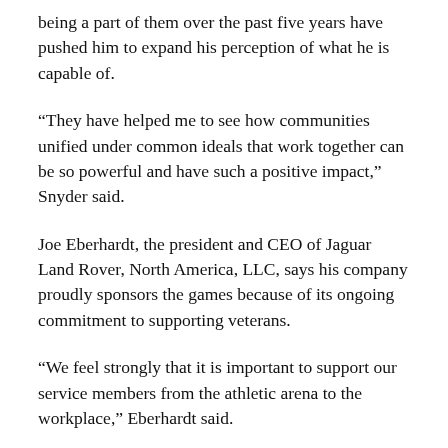being a part of them over the past five years have pushed him to expand his perception of what he is capable of.
“They have helped me to see how communities unified under common ideals that work together can be so powerful and have such a positive impact,” Snyder said.
Joe Eberhardt, the president and CEO of Jaguar Land Rover, North America, LLC, says his company proudly sponsors the games because of its ongoing commitment to supporting veterans.
“We feel strongly that it is important to support our service members from the athletic arena to the workplace,” Eberhardt said.
Snyder, a graduate of the U.S. Naval Academy, went